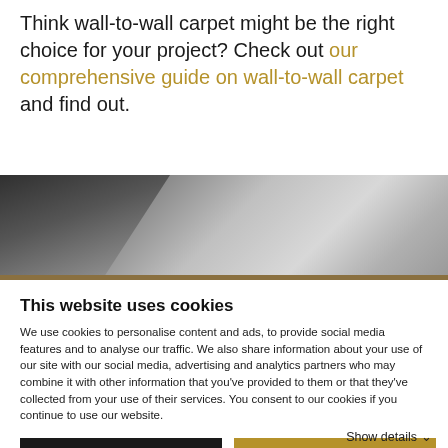Think wall-to-wall carpet might be the right choice for your project? Check out our comprehensive guide on wall-to-wall carpet and find out.
[Figure (photo): Partial view of a room or interior space with carpet/flooring, showing geometric grey tones with a diagonal dark panel on the left side and lighter grey panels, with a tan/brown strip along the bottom.]
This website uses cookies
We use cookies to personalise content and ads, to provide social media features and to analyse our traffic. We also share information about your use of our site with our social media, advertising and analytics partners who may combine it with other information that you've provided to them or that they've collected from your use of their services. You consent to our cookies if you continue to use our website.
Use necessary cookies only | Allow all cookies | Show details